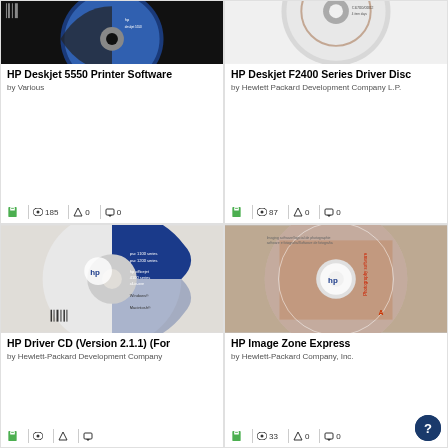[Figure (photo): HP Deskjet 5550 software disc on black background]
HP Deskjet 5550 Printer Software
by Various
185 views, 0 favorites, 0 comments
[Figure (photo): HP Deskjet F2400 Series Driver Disc on white background]
HP Deskjet F2400 Series Driver Disc
by Hewlett Packard Development Company L.P.
87 views, 0 favorites, 0 comments
[Figure (photo): HP Driver CD (Version 2.1.1) disc on grey background]
HP Driver CD (Version 2.1.1) (For
by Hewlett-Packard Development Company
[Figure (photo): HP Image Zone Express photography software CD with person holding camera]
HP Image Zone Express
by Hewlett-Packard Company, Inc.
33 views, 0 favorites, 0 comments